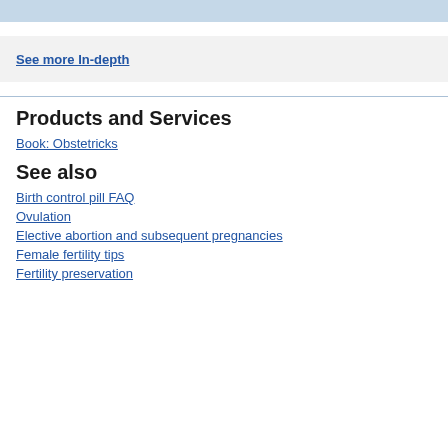See more In-depth
Products and Services
Book: Obstetricks
See also
Birth control pill FAQ
Ovulation
Elective abortion and subsequent pregnancies
Female fertility tips
Fertility preservation